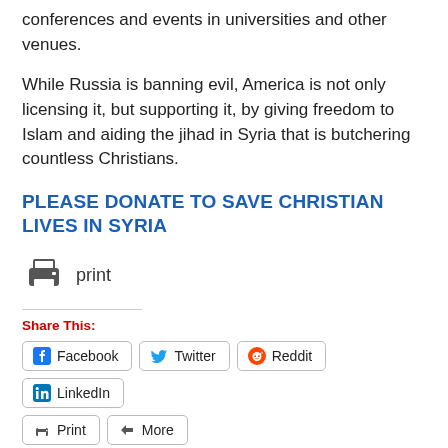conferences and events in universities and other venues.
While Russia is banning evil, America is not only licensing it, but supporting it, by giving freedom to Islam and aiding the jihad in Syria that is butchering countless Christians.
PLEASE DONATE TO SAVE CHRISTIAN LIVES IN SYRIA
print
Share This:
Facebook  Twitter  Reddit  LinkedIn  Print  More